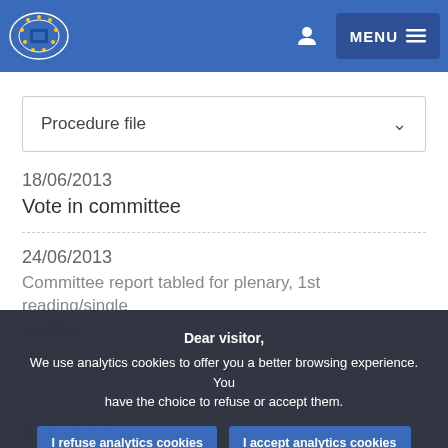European Parliament navigation bar with logo and MENU button
Procedure file
18/06/2013
Vote in committee
24/06/2013
Committee report tabled for plenary, 1st reading/single reading
02/07/2013
Dear visitor,
We use analytics cookies to offer you a better browsing experience. You have the choice to refuse or accept them.
I refuse analytics cookies  I accept analytics cookies
For any information on the other cookies and server logs we use, we invite you to read our data protection policy , our cookies policy and our cookies inventory.